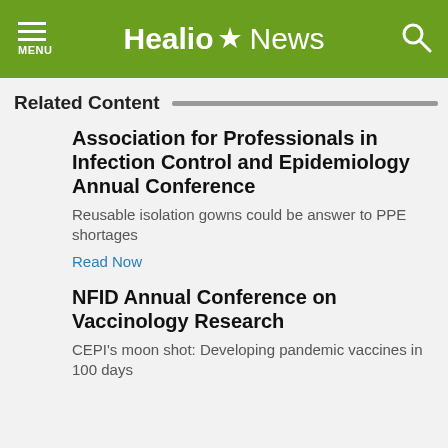Healio News
Related Content
Association for Professionals in Infection Control and Epidemiology Annual Conference
Reusable isolation gowns could be answer to PPE shortages
Read Now
NFID Annual Conference on Vaccinology Research
CEPI's moon shot: Developing pandemic vaccines in 100 days